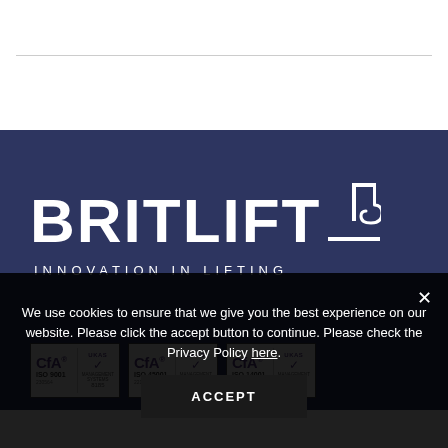[Figure (logo): Britlift logo with crane hook icon and tagline 'INNOVATION IN LIFTING' on dark navy background, with three CfA ISO certification badges (ISO 9001, ISO 45001, ISO 14001) with UKAS accreditation marks]
We use cookies to ensure that we give you the best experience on our website. Please click the accept button to continue. Please check the Privacy Policy here.